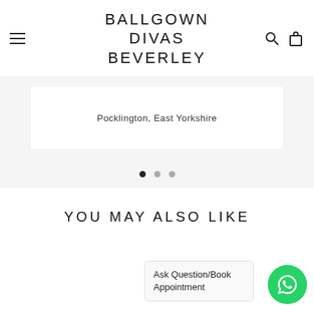BALLGOWN DIVAS BEVERLEY
Pocklington, East Yorkshire
[Figure (other): Carousel pagination dots: one filled (active) and two grey]
YOU MAY ALSO LIKE
Ask Question/Book Appointment